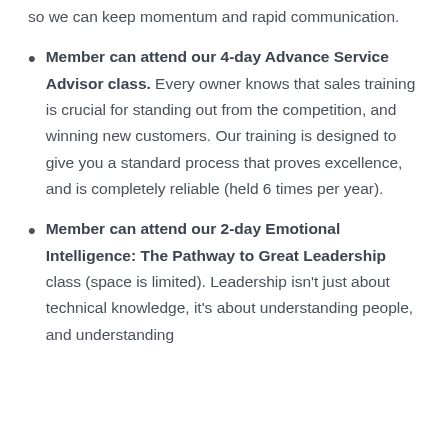so we can keep momentum and rapid communication.
Member can attend our 4-day Advance Service Advisor class. Every owner knows that sales training is crucial for standing out from the competition, and winning new customers. Our training is designed to give you a standard process that proves excellence, and is completely reliable (held 6 times per year).
Member can attend our 2-day Emotional Intelligence: The Pathway to Great Leadership class (space is limited). Leadership isn't just about technical knowledge, it's about understanding people, and understanding